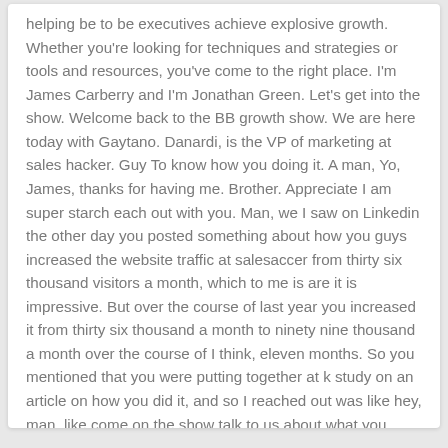helping be to be executives achieve explosive growth. Whether you're looking for techniques and strategies or tools and resources, you've come to the right place. I'm James Carberry and I'm Jonathan Green. Let's get into the show. Welcome back to the BB growth show. We are here today with Gaytano. Danardi, is the VP of marketing at sales hacker. Guy To know how you doing it. A man, Yo, James, thanks for having me. Brother. Appreciate I am super starch each out with you. Man, we I saw on Linkedin the other day you posted something about how you guys increased the website traffic at salesaccer from thirty six thousand visitors a month, which to me is are it is impressive. But over the course of last year you increased it from thirty six thousand a month to ninety nine thousand a month over the course of I think, eleven months. So you mentioned that you were putting together at k study on an article on how you did it, and so I reached out was like hey, man, like come on the show talk to us about what you guys did to almost x